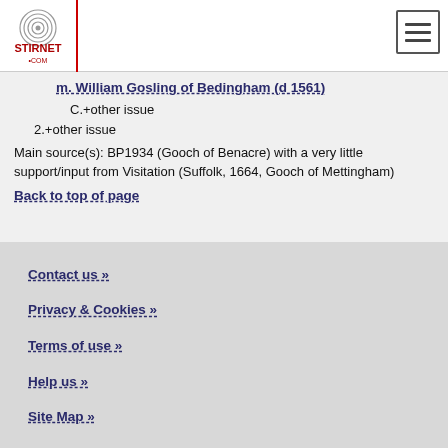Stirnet.com
m. William Gosling of Bedingham (d 1561)
C.+other issue
2.+other issue
Main source(s): BP1934 (Gooch of Benacre) with a very little support/input from Visitation (Suffolk, 1664, Gooch of Mettingham)
Back to top of page
Contact us » | Privacy & Cookies » | Terms of use » | Help us » | Site Map »